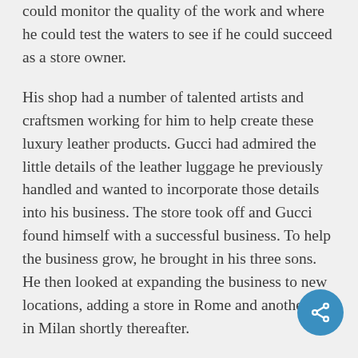could monitor the quality of the work and where he could test the waters to see if he could succeed as a store owner.
His shop had a number of talented artists and craftsmen working for him to help create these luxury leather products. Gucci had admired the little details of the leather luggage he previously handled and wanted to incorporate those details into his business. The store took off and Gucci found himself with a successful business. To help the business grow, he brought in his three sons. He then looked at expanding the business to new locations, adding a store in Rome and another sto in Milan shortly thereafter.
[Figure (other): A circular blue share/social button with a share icon (three connected nodes)]